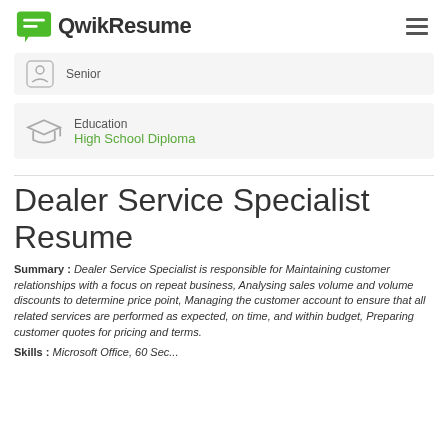QwikResume
Senior
Education
High School Diploma
Dealer Service Specialist Resume
Summary : Dealer Service Specialist is responsible for Maintaining customer relationships with a focus on repeat business, Analysing sales volume and volume discounts to determine price point, Managing the customer account to ensure that all related services are performed as expected, on time, and within budget, Preparing customer quotes for pricing and terms.
Skills : Microsoft Office, 60 Sec...